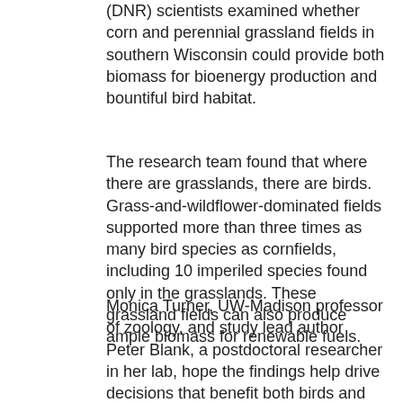(DNR) scientists examined whether corn and perennial grassland fields in southern Wisconsin could provide both biomass for bioenergy production and bountiful bird habitat.
The research team found that where there are grasslands, there are birds. Grass-and-wildflower-dominated fields supported more than three times as many bird species as cornfields, including 10 imperiled species found only in the grasslands. These grassland fields can also produce ample biomass for renewable fuels.
Monica Turner, UW-Madison professor of zoology, and study lead author Peter Blank, a postdoctoral researcher in her lab, hope the findings help drive decisions that benefit both birds and biofuels, too, by providing information for land managers, farmers, conservationists and policy makers as the bioenergy industry ramps up, particularly in Wisconsin and the central U.S.